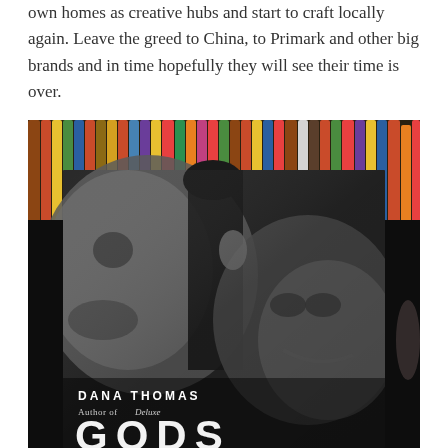own homes as creative hubs and start to craft locally again. Leave the greed to China, to Primark and other big brands and in time hopefully they will see their time is over.
[Figure (photo): A photograph of a book titled 'Gods' by Dana Thomas, Author of Deluxe, placed in front of a container of colorful pencils. The book cover shows black and white close-up photographs of people's faces.]